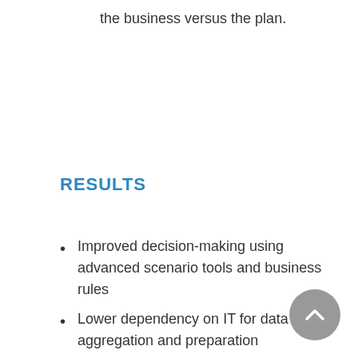the business versus the plan.
RESULTS
Improved decision-making using advanced scenario tools and business rules
Lower dependency on IT for data aggregation and preparation
Improved global collaboration between